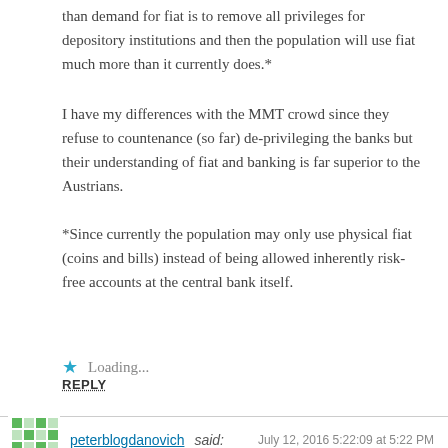than demand for fiat is to remove all privileges for depository institutions and then the population will use fiat much more than it currently does.*
I have my differences with the MMT crowd since they refuse to countenance (so far) de-privileging the banks but their understanding of fiat and banking is far superior to the Austrians.
*Since currently the population may only use physical fiat (coins and bills) instead of being allowed inherently risk-free accounts at the central bank itself.
Loading...
REPLY
peterblogdanovich said: July 12, 2016 5:22:09 at 5:22 PM
One last quip. Mr. Anderson, if you ever assume a nom de plume may I suggest “Neo”.